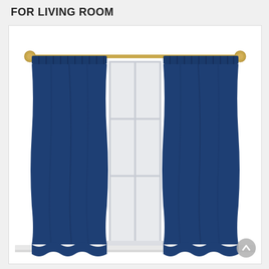FOR LIVING ROOM
[Figure (photo): Two navy blue rod-pocket blackout curtain panels hanging on a gold curtain rod, flanking a white-framed window. The curtains are a deep navy/dark blue color with gentle waves at the bottom hem. The window in the center shows a white frame with multiple panes. The curtains are shown in a living room setting on a white background.]